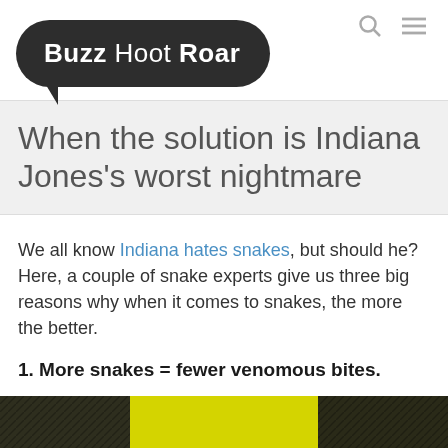Buzz Hoot Roar
When the solution is Indiana Jones's worst nightmare
We all know Indiana hates snakes, but should he? Here, a couple of snake experts give us three big reasons why when it comes to snakes, the more the better.
1. More snakes = fewer venomous bites.
[Figure (photo): Bottom image strip showing a snake or reptile image with yellow background]